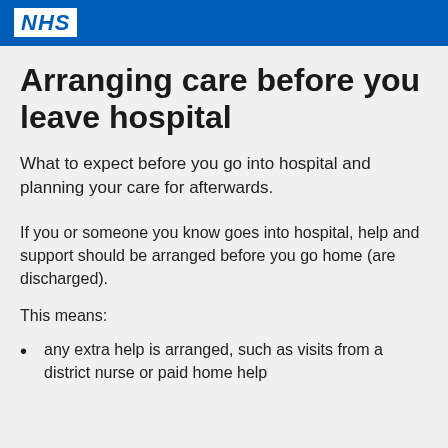NHS
Arranging care before you leave hospital
What to expect before you go into hospital and planning your care for afterwards.
If you or someone you know goes into hospital, help and support should be arranged before you go home (are discharged).
This means:
any extra help is arranged, such as visits from a district nurse or paid home help